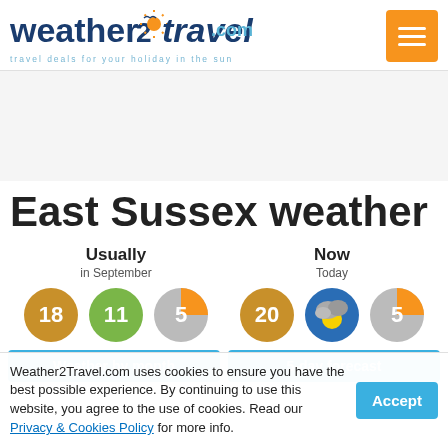[Figure (logo): Weather2Travel.com logo with tagline 'travel deals for your holiday in the sun' and orange menu hamburger button]
[Figure (other): Gray advertisement/banner placeholder area]
East Sussex weather
Usually in September
Now Today
[Figure (infographic): Weather circles showing: orange circle '18', green circle '11', gray/yellow pie circle '5' for Usually in September; orange circle '20', blue/yellow/gray weather icon circle, gray/yellow pie circle '5' for Now Today]
Weather by month
5-day forecast
Weather2Travel.com uses cookies to ensure you have the best possible experience. By continuing to use this website, you agree to the use of cookies. Read our Privacy & Cookies Policy for more info.
Accept